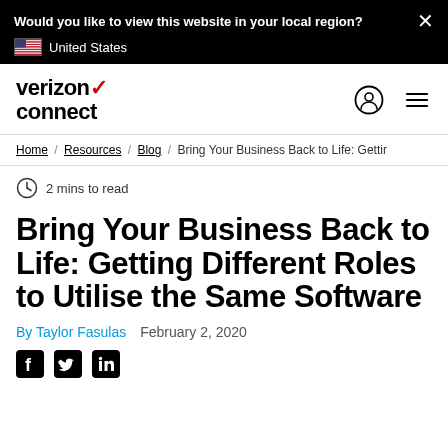Would you like to view this website in your local region? × United States
[Figure (logo): Verizon Connect logo with red checkmark]
Home / Resources / Blog / Bring Your Business Back to Life: Gettir
2 mins to read
Bring Your Business Back to Life: Getting Different Roles to Utilise the Same Software
By Taylor Fasulas   February 2, 2020
[Figure (infographic): Social share icons: Facebook, Twitter, LinkedIn]